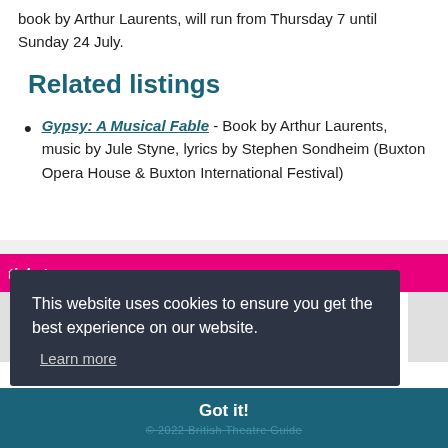book by Arthur Laurents, will run from Thursday 7 until Sunday 24 July.
Related listings
Gypsy: A Musical Fable - Book by Arthur Laurents, music by Jule Styne, lyrics by Stephen Sondheim (Buxton Opera House & Buxton International Festival)
This website uses cookies to ensure you get the best experience on our website.
Learn more
Got it!
© 2022 British Theatre Guide